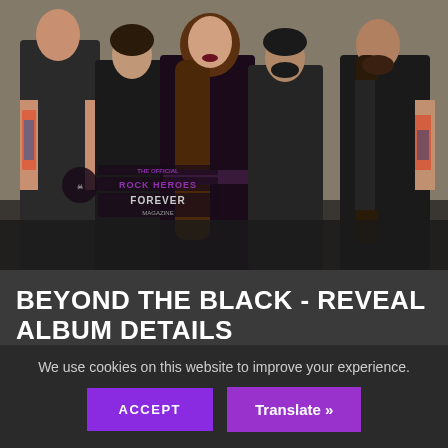[Figure (photo): Band photo of Beyond The Black — five members in black clothing posed against a light grey wall. A woman with dark hair in the center, flanked by two men on each side with tattoos and long hair. A watermark logo for Rock Heroes Forever Magazine is visible in the lower left.]
BEYOND THE BLACK - REVEAL ALBUM DETAILS
JUNE 10, 2018
We use cookies on this website to improve your experience.
ACCEPT
Translate »